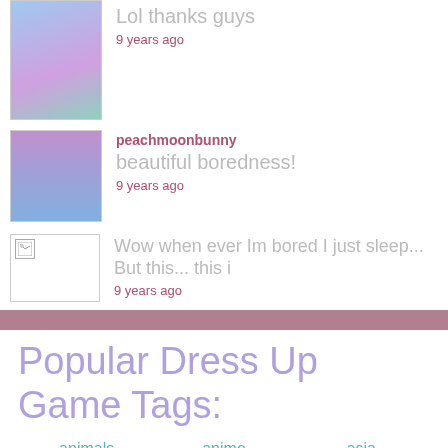Lol thanks guys
9 years ago
peachmoonbunny
beautiful boredness!
9 years ago
[Figure (illustration): Broken image placeholder icon]
Wow when ever Im bored I just sleep... But this... this i
9 years ago
Popular Dress Up Game Tags:
animals
anime
asia
avatar makers
azaleasdolls
character creator
couples
disney princess
dragons
elequinoa
fairies
fantasy